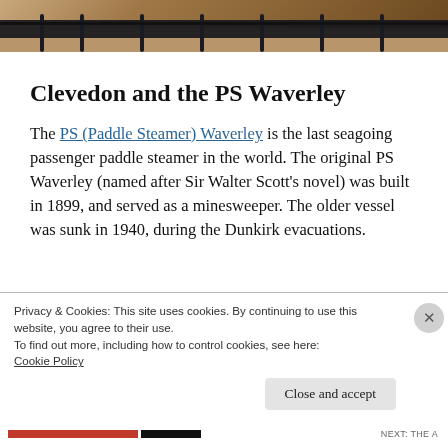[Figure (photo): Top portion of a photo showing metal railings/fence against a sandy or earthy background, partially cropped at top of page]
Clevedon and the PS Waverley
The PS (Paddle Steamer) Waverley is the last seagoing passenger paddle steamer in the world. The original PS Waverley (named after Sir Walter Scott's novel) was built in 1899, and served as a minesweeper. The older vessel was sunk in 1940, during the Dunkirk evacuations.
Privacy & Cookies: This site uses cookies. By continuing to use this website, you agree to their use.
To find out more, including how to control cookies, see here: Cookie Policy
Close and accept